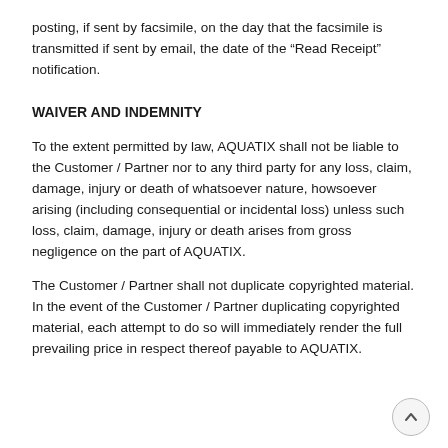posting, if sent by facsimile, on the day that the facsimile is transmitted if sent by email, the date of the “Read Receipt” notification.
WAIVER AND INDEMNITY
To the extent permitted by law, AQUATIX shall not be liable to the Customer / Partner nor to any third party for any loss, claim, damage, injury or death of whatsoever nature, howsoever arising (including consequential or incidental loss) unless such loss, claim, damage, injury or death arises from gross negligence on the part of AQUATIX.
The Customer / Partner shall not duplicate copyrighted material. In the event of the Customer / Partner duplicating copyrighted material, each attempt to do so will immediately render the full prevailing price in respect thereof payable to AQUATIX.